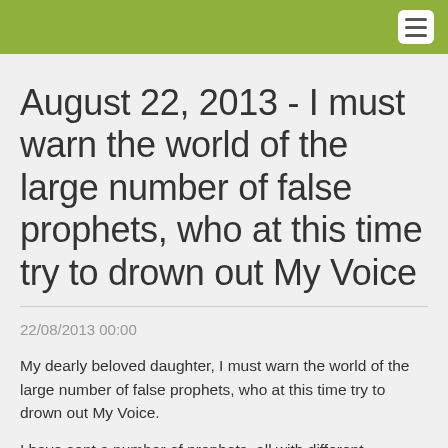August 22, 2013 - I must warn the world of the large number of false prophets, who at this time try to drown out My Voice
22/08/2013 00:00
My dearly beloved daughter, I must warn the world of the large number of false prophets, who at this time try to drown out My Voice.
I have sent a number of prophets, all with different